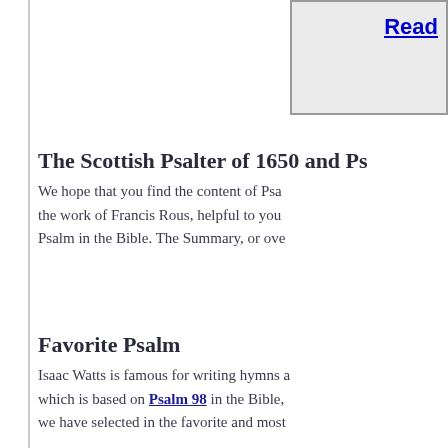[Figure (screenshot): Partial box in top-right with a 'Read' link in blue, gray background, bordered container]
The Scottish Psalter of 1650 and Ps
We hope that you find the content of Psa the work of Francis Rous, helpful to you Psalm in the Bible. The Summary, or ove
Favorite Psalm
Isaac Watts is famous for writing hymns a which is based on Psalm 98 in the Bible, we have selected in the favorite and most